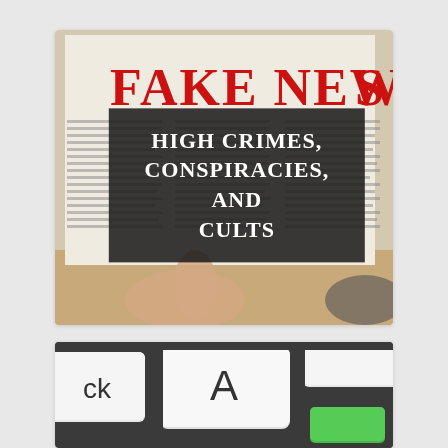[Figure (photo): A newspaper with 'FAKE NEWS' printed in large red letters, held by a person's hand, with text overlay box reading 'HIGH CRIMES, CONSPIRACIES, AND CULTS']
[Figure (photo): Close-up of a computer keyboard showing keys including 'A', 'ck', and a green key]